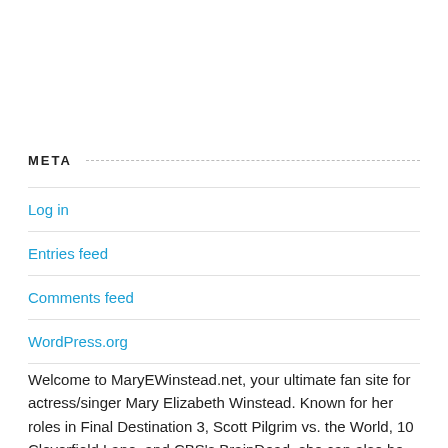META
Log in
Entries feed
Comments feed
WordPress.org
Welcome to MaryEWinstead.net, your ultimate fan site for actress/singer Mary Elizabeth Winstead. Known for her roles in Final Destination 3, Scott Pilgrim vs. the World, 10 Cloverfield Lane, and CBS's BrainDead, she can also be seen in the third season of FX's Fargo as Nikki Swango and previously, in PBS' Mercy Street. She is